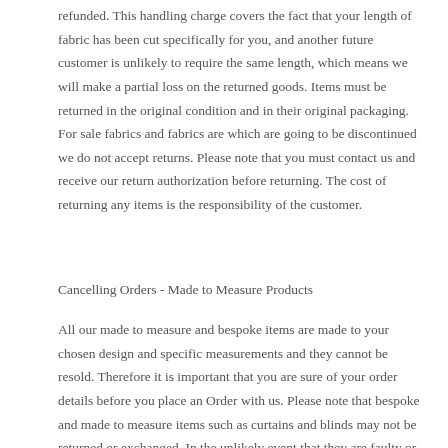refunded. This handling charge covers the fact that your length of fabric has been cut specifically for you, and another future customer is unlikely to require the same length, which means we will make a partial loss on the returned goods. Items must be returned in the original condition and in their original packaging. For sale fabrics and fabrics are which are going to be discontinued we do not accept returns. Please note that you must contact us and receive our return authorization before returning. The cost of returning any items is the responsibility of the customer.
Cancelling Orders - Made to Measure Products
All our made to measure and bespoke items are made to your chosen design and specific measurements and they cannot be resold. Therefore it is important that you are sure of your order details before you place an Order with us. Please note that bespoke and made to measure items such as curtains and blinds may not be returned or exchanged. In the unlikely event that they are faulty or incorrect, please contact us within 30 days from